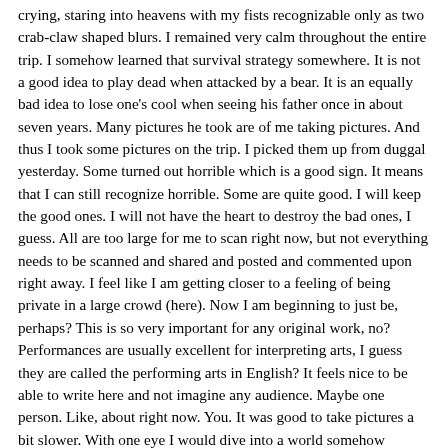crying, staring into heavens with my fists recognizable only as two crab-claw shaped blurs. I remained very calm throughout the entire trip. I somehow learned that survival strategy somewhere. It is not a good idea to play dead when attacked by a bear. It is an equally bad idea to lose one's cool when seeing his father once in about seven years. Many pictures he took are of me taking pictures. And thus I took some pictures on the trip. I picked them up from duggal yesterday. Some turned out horrible which is a good sign. It means that I can still recognize horrible. Some are quite good. I will keep the good ones. I will not have the heart to destroy the bad ones, I guess. All are too large for me to scan right now, but not everything needs to be scanned and shared and posted and commented upon right away. I feel like I am getting closer to a feeling of being private in a large crowd (here). Now I am beginning to just be, perhaps? This is so very important for any original work, no? Performances are usually excellent for interpreting arts, I guess they are called the performing arts in English? It feels nice to be able to write here and not imagine any audience. Maybe one person. Like, about right now. You. It was good to take pictures a bit slower. With one eye I would dive into a world somehow related to the one surrounding me, and yet very controlled by my actions. Not only was it important how objects aligned, it was important how i moved myself in relation to them. The bear was there too. We all had to be aligned into very deliberate arrangements. We then had to be undisturbed in this position for